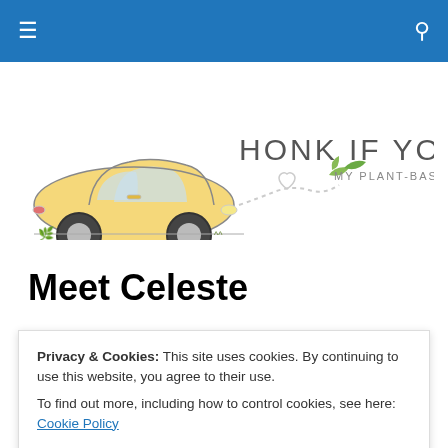Navigation bar with hamburger menu and search icon
[Figure (logo): Honk If You're Vegan blog logo featuring a yellow VW Beetle car with dotted trail and green leaves, text reads 'HONK IF YOU'RE VEGAN - MY PLANT-BASED JOURNEY']
Meet Celeste
[Figure (photo): Partial photo of a person with blonde hair in front of a brick wall with green bamboo/plant stems]
Privacy & Cookies: This site uses cookies. By continuing to use this website, you agree to their use.
To find out more, including how to control cookies, see here: Cookie Policy
Close and accept